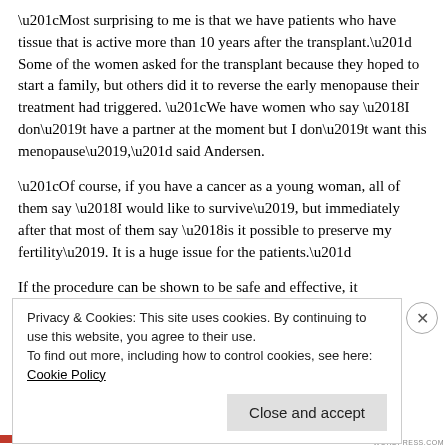“Most surprising to me is that we have patients who have tissue that is active more than 10 years after the transplant.” Some of the women asked for the transplant because they hoped to start a family, but others did it to reverse the early menopause their treatment had triggered. “We have women who say ‘I don’t have a partner at the moment but I don’t want this menopause’,” said Andersen.
“Of course, if you have a cancer as a young woman, all of them say ‘I would like to survive’, but immediately after that most of them say ‘is it possible to preserve my fertility’. It is a huge issue for the patients.”
If the procedure can be shown to be safe and effective, it
Privacy & Cookies: This site uses cookies. By continuing to use this website, you agree to their use.
To find out more, including how to control cookies, see here: Cookie Policy
Close and accept